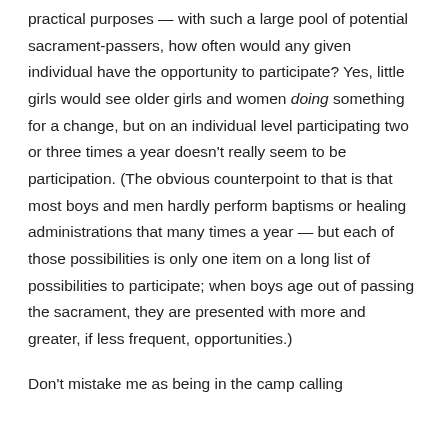practical purposes — with such a large pool of potential sacrament-passers, how often would any given individual have the opportunity to participate? Yes, little girls would see older girls and women doing something for a change, but on an individual level participating two or three times a year doesn't really seem to be participation. (The obvious counterpoint to that is that most boys and men hardly perform baptisms or healing administrations that many times a year — but each of those possibilities is only one item on a long list of possibilities to participate; when boys age out of passing the sacrament, they are presented with more and greater, if less frequent, opportunities.)
Don't mistake me as being in the camp calling